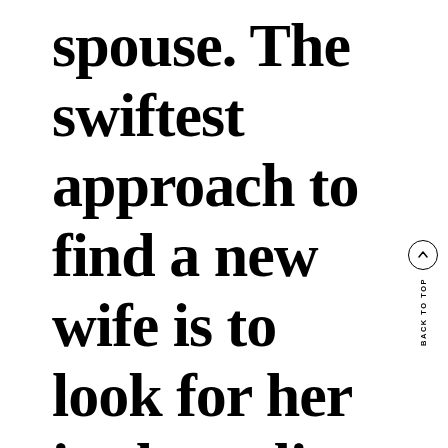current spouse. The swiftest approach to find a new wife is to look for her in the online